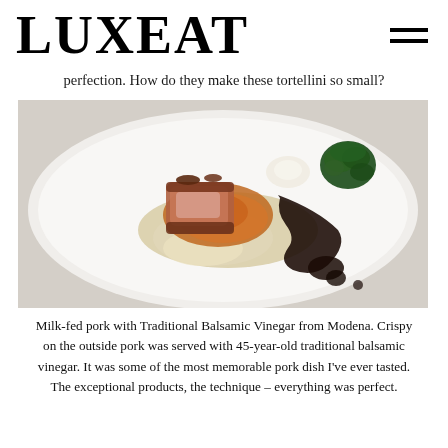LUXEAT
perfection. How do they make these tortellini so small?
[Figure (photo): A plated fine dining dish: milk-fed pork with traditional balsamic vinegar from Modena, served on a white plate with cream puree, orange-brown sauce, dark balsamic drizzle, and green vegetable garnish.]
Milk-fed pork with Traditional Balsamic Vinegar from Modena. Crispy on the outside pork was served with 45-year-old traditional balsamic vinegar. It was some of the most memorable pork dish I've ever tasted. The exceptional products, the technique – everything was perfect.